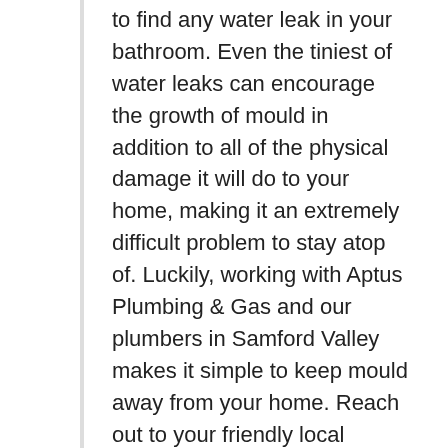to find any water leak in your bathroom. Even the tiniest of water leaks can encourage the growth of mould in addition to all of the physical damage it will do to your home, making it an extremely difficult problem to stay atop of. Luckily, working with Aptus Plumbing & Gas and our plumbers in Samford Valley makes it simple to keep mould away from your home. Reach out to your friendly local plumbers today using our enquiry form to find a solution for all of your plumbing problems, or call us on (07) 3205 1991.
In as little as 24-48 hours, mould will begin to take root in your home. The only conditions necessary to facilitate the growth of mould are high moisture content, low light, and poor ventilation, all of which are common conditions in